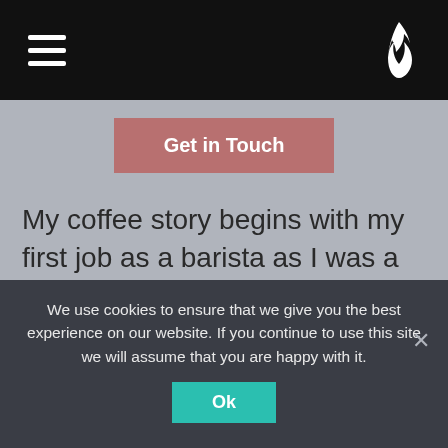Navigation bar with hamburger menu and flame logo
Get in Touch
My coffee story begins with my first job as a barista as I was a student. Working with coffee, you see the magic from the other side: why do people love coffee so much? It's not just a drink or a drug. It's more of being in the moment, a ritual, a special time for yourself
We use cookies to ensure that we give you the best experience on our website. If you continue to use this site we will assume that you are happy with it.
Ok